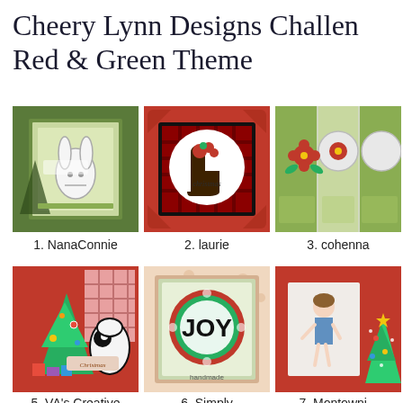Cheery Lynn Designs Challenge Red & Green Theme
[Figure (photo): Handmade Christmas card with green background and bunny character. Label: 1. NanaConnie]
[Figure (photo): Christmas card with black frame, red plaid background, white circle, and cowboy boot with Christmas text. Label: 2. laurie]
[Figure (photo): Green patterned card with red flowers and decorative elements. Label: 3. cohenna]
[Figure (photo): Red card with Christmas tree and cartoon dog character with presents. Label: 5. VA's Creative]
[Figure (photo): Card with JOY wreath design on patterned background, handmade label. Label: 6. Simply]
[Figure (photo): Red card with girl figure and Christmas tree. Label: 7. Montownj...]
1. NanaConnie
2. laurie
3. cohenna
5. VA's Creative
6. Simply
7. Montownj...